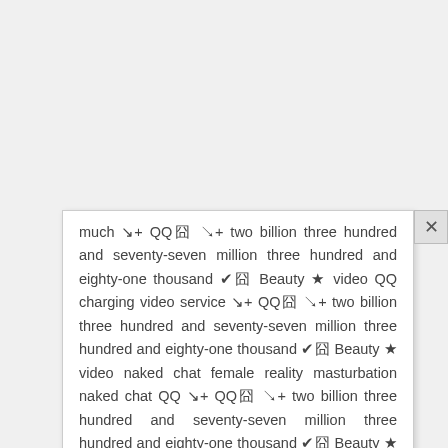much ↘+ QQ囧 ↘+ two billion three hundred and seventy-seven million three hundred and eighty-one thousand ✔囧 Beauty ★ video QQ charging video service ↘+ QQ囧 ↘+ two billion three hundred and seventy-seven million three hundred and eighty-one thousand ✔囧 Beauty ★ video naked chat female reality masturbation naked chat QQ ↘+ QQ囧 ↘+ two billion three hundred and seventy-seven million three hundred and eighty-one thousand ✔囧 Beauty ★ video naked chat female charge video chat QQ ↘+ QQ囧 ↘+ two billion three hundred and seventy-seven million three hundred and eighty-one thousand ✔囧 Beauty ★ video naked chat female masturbation real